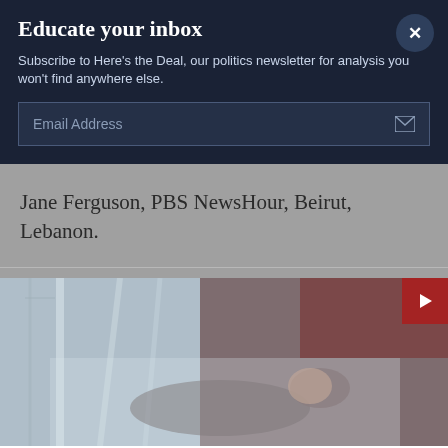Educate your inbox
Subscribe to Here's the Deal, our politics newsletter for analysis you won't find anywhere else.
Email Address
Jane Ferguson, PBS NewsHour, Beirut, Lebanon.
[Figure (photo): A person lying in a hospital bed covered with a thin white sheet or curtain in a dimly lit room with medical equipment visible in the background. A red play button icon appears in the upper right corner indicating a video.]